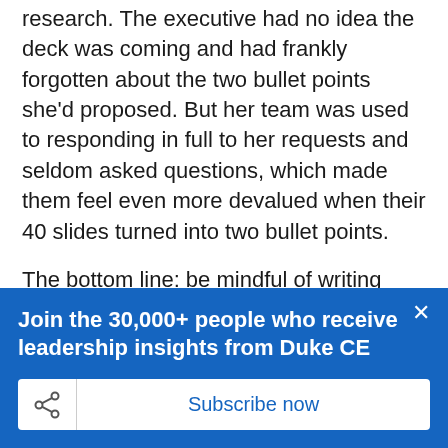research. The executive had no idea the deck was coming and had frankly forgotten about the two bullet points she'd proposed. But her team was used to responding in full to her requests and seldom asked questions, which made them feel even more devalued when their 40 slides turned into two bullet points.
The bottom line: be mindful of writing 'think-alouds,' and separate them from true marching orders. When writing, do the little things. Check your tone and think about how your message may be perceived, especially based on your rank.
Join the 30,000+ people who receive leadership insights from Duke CE
Subscribe now